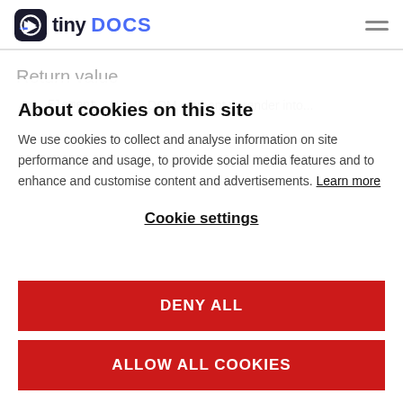tiny DOCS
Return value
Element  HTML DOM element to render into…
About cookies on this site
We use cookies to collect and analyse information on site performance and usage, to provide social media features and to enhance and customise content and advertisements. Learn more
Cookie settings
DENY ALL
ALLOW ALL COOKIES